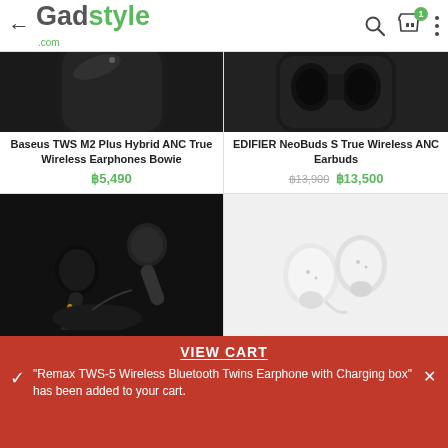← Gadstyle .com
[Figure (photo): Black earphone charging case (Baseus TWS M2 Plus) - top view showing closed case]
Baseus TWS M2 Plus Hybrid ANC True Wireless Earphones Bowie
฿5,490
[Figure (photo): Black earphone charging case (EDIFIER NeoBuds S) - open top view showing slots]
EDIFIER NeoBuds S True Wireless ANC Earbuds
฿13,900  ฿13,500
[Figure (photo): Black TWS earphones with stems against dark background]
[Figure (photo): White TWS earbuds (AirPods style) against white background]
VIEW CART
"Remax TWS-5 Wireless Bluetooth Twins Earphone with Charging box" has been added to your cart.